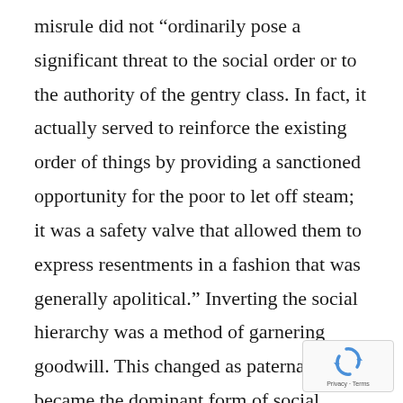misrule did not “ordinarily pose a significant threat to the social order or to the authority of the gentry class. In fact, it actually served to reinforce the existing order of things by providing a sanctioned opportunity for the poor to let off steam; it was a safety valve that allowed them to express resentments in a fashion that was generally apolitical.” Inverting the social hierarchy was a method of garnering goodwill. This changed as paternalism became the dominant form of social relations. Also the nature of work changed.
[Figure (logo): Google reCAPTCHA badge with recycling-arrow icon and Privacy · Terms text]